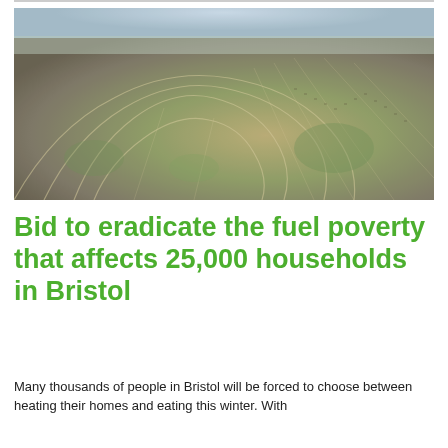[Figure (photo): Aerial photograph of Bristol residential neighborhoods showing curved streets and densely packed housing from above]
Bid to eradicate the fuel poverty that affects 25,000 households in Bristol
Many thousands of people in Bristol will be forced to choose between heating their homes and eating this winter. With